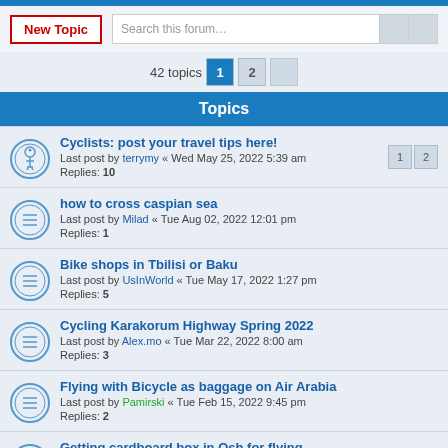New Topic | Search this forum…
42 topics  1  2
Topics
Cyclists: post your travel tips here!
Last post by terrymy « Wed May 25, 2022 5:39 am
Replies: 10
how to cross caspian sea
Last post by Milad « Tue Aug 02, 2022 12:01 pm
Replies: 1
Bike shops in Tbilisi or Baku
Last post by UsInWorld « Tue May 17, 2022 1:27 pm
Replies: 5
Cycling Karakorum Highway Spring 2022
Last post by Alex.mo « Tue Mar 22, 2022 8:00 am
Replies: 3
Flying with Bicycle as baggage on Air Arabia
Last post by Pamirski « Tue Feb 15, 2022 9:45 pm
Replies: 2
Getting cardboard box in Osh for flying
Last post by pattex « Fri Dec 03, 2021 4:01 pm
Replies: 2